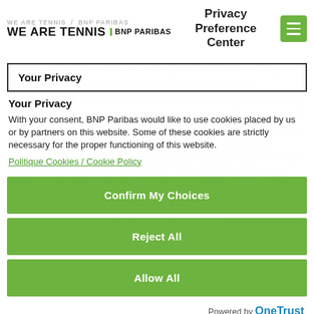WE ARE TENNIS | BNP PARIBAS — Privacy Preference Center
Your Privacy
Your Privacy
With your consent, BNP Paribas would like to use cookies placed by us or by partners on this website. Some of these cookies are strictly necessary for the proper functioning of this website.
Politique Cookies / Cookie Policy
Confirm My Choices
Reject All
Allow All
Powered by OneTrust